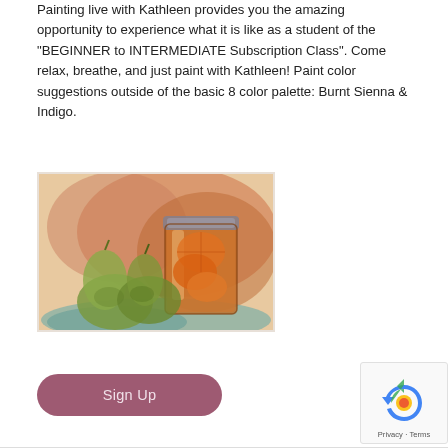Painting live with Kathleen provides you the amazing opportunity to experience what it is like as a student of the "BEGINNER to INTERMEDIATE Subscription Class". Come relax, breathe, and just paint with Kathleen! Paint color suggestions outside of the basic 8 color palette: Burnt Sienna & Indigo.
[Figure (illustration): Watercolor painting showing two green pears beside a glass jar filled with orange slices, set against a warm orange-brown background.]
Sign Up
[Figure (other): reCAPTCHA widget showing the Google reCAPTCHA logo with Privacy and Terms text below.]